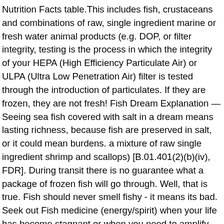Nutrition Facts table.This includes fish, crustaceans and combinations of raw, single ingredient marine or fresh water animal products (e.g. DOP, or filter integrity, testing is the process in which the integrity of your HEPA (High Efficiency Particulate Air) or ULPA (Ultra Low Penetration Air) filter is tested through the introduction of particulates. If they are frozen, they are not fresh! Fish Dream Explanation — Seeing sea fish covered with salt in a dream means lasting richness, because fish are preserved in salt, or it could mean burdens. a mixture of raw single ingredient shrimp and scallops) [B.01.401(2)(b)(iv), FDR]. During transit there is no guarantee what a package of frozen fish will go through. Well, that is true. Fish should never smell fishy - it means its bad. Seek out Fish medicine (energy/spirit) when your life has become stagnant or when you need to amplify your instincts. Flash freezing is often used to make frozen fruits sold in stores. Freezing and cold storage is an efficient method of fish preservation but it must be emphasised that it does not improve product quality. It is